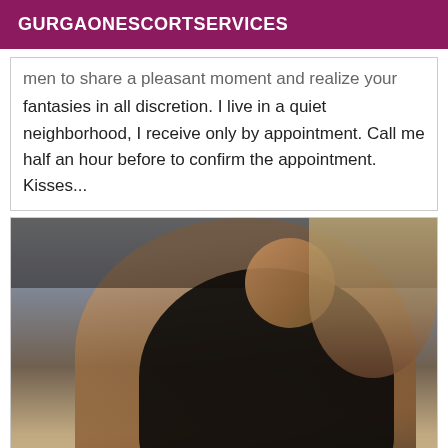GURGAONESCORTSERVICES
men to share a pleasant moment and realize your fantasies in all discretion. I live in a quiet neighborhood, I receive only by appointment. Call me half an hour before to confirm the appointment. Kisses...
[Figure (photo): A person posing in a black lace garment, photographed from behind in a bedroom setting, face obscured by raised arms.]